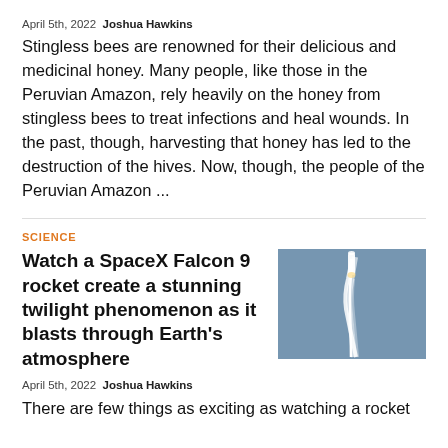April 5th, 2022 Joshua Hawkins
Stingless bees are renowned for their delicious and medicinal honey. Many people, like those in the Peruvian Amazon, rely heavily on the honey from stingless bees to treat infections and heal wounds. In the past, though, harvesting that honey has led to the destruction of the hives. Now, though, the people of the Peruvian Amazon ...
SCIENCE
Watch a SpaceX Falcon 9 rocket create a stunning twilight phenomenon as it blasts through Earth's atmosphere
[Figure (photo): Photo of a SpaceX Falcon 9 rocket launching, creating a bright exhaust trail against a blue-grey sky]
April 5th, 2022 Joshua Hawkins
There are few things as exciting as watching a rocket